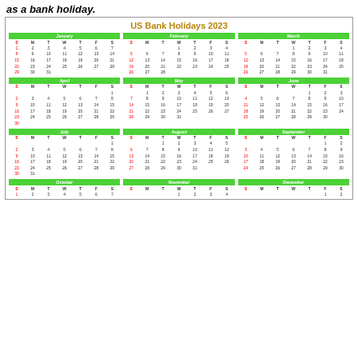as a bank holiday.
[Figure (other): US Bank Holidays 2023 full year calendar grid showing all 12 months with Sundays and holidays highlighted in red]
US Bank Holidays 2023